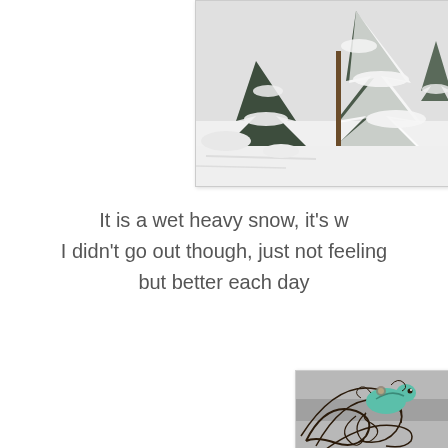[Figure (photo): Winter snow scene with snow-laden evergreen trees and a utility pole, snowy ground, black and white/desaturated photo]
It is a wet heavy snow, it's w
I didn't go out though, just not feeling
but better each day
[Figure (illustration): Decorative illustration of a stylized peacock or bird with ornate swirling feathers in teal and dark brown on a grey background]